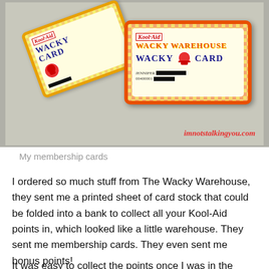[Figure (photo): Two Kool-Aid Wacky Warehouse membership cards on a gray surface. One card is tilted at an angle (back-left), the other is upright (front-right). Both have red-and-yellow checkered borders. The front card shows 'Kool-Aid WACKY WAREHOUSE WACKY CARD' with a Kool-Aid Man mascot, name 'JENNIFER' and number '00400001' with a redacted portion. The back card shows 'WACKY CARD' with a redacted number. Watermark reads 'imnotstalkingyou.com'.]
My membership cards
I ordered so much stuff from The Wacky Warehouse, they sent me a printed sheet of card stock that could be folded into a bank to collect all your Kool-Aid points in, which looked like a little warehouse. They sent me membership cards. They even sent me bonus points!
It was easy to collect the points once I was in the habit of